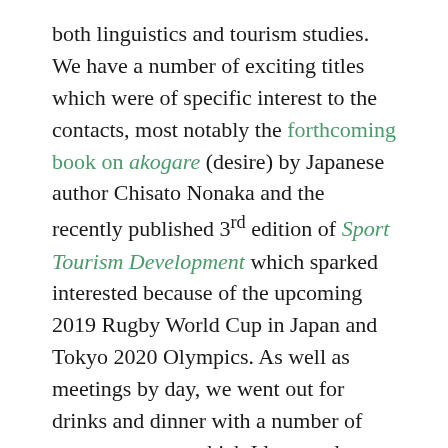both linguistics and tourism studies. We have a number of exciting titles which were of specific interest to the contacts, most notably the forthcoming book on akogare (desire) by Japanese author Chisato Nonaka and the recently published 3rd edition of Sport Tourism Development which sparked interested because of the upcoming 2019 Rugby World Cup in Japan and Tokyo 2020 Olympics. As well as meetings by day, we went out for drinks and dinner with a number of our contacts, at which I learnt a lot about Japanese culture, food and alcohol!
After the sales part of my trip, I took a day off to reset my brain from sales to editorial work and to enjoy the sights of Tokyo. Sadly, it was a wet break (the rainy season had just begun), but as I had been fortunate enough to enjoy some sunshine the